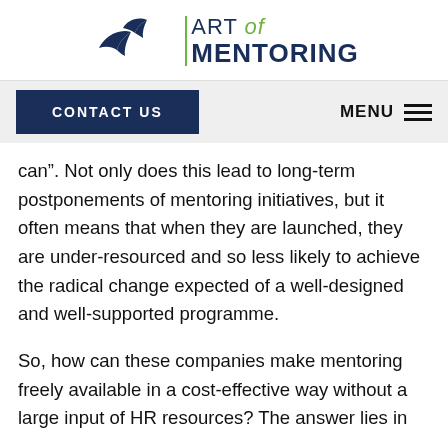[Figure (logo): Art of Mentoring logo with two flying birds silhouettes and green vertical bar, company name in dark navy]
CONTACT US   MENU
can”. Not only does this lead to long-term postponements of mentoring initiatives, but it often means that when they are launched, they are under-resourced and so less likely to achieve the radical change expected of a well-designed and well-supported programme.
So, how can these companies make mentoring freely available in a cost-effective way without a large input of HR resources? The answer lies in